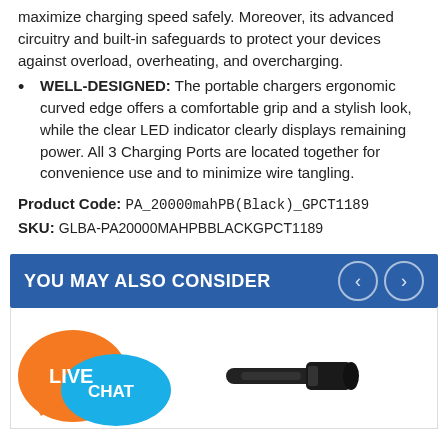maximize charging speed safely. Moreover, its advanced circuitry and built-in safeguards to protect your devices against overload, overheating, and overcharging.
WELL-DESIGNED: The portable chargers ergonomic curved edge offers a comfortable grip and a stylish look, while the clear LED indicator clearly displays remaining power. All 3 Charging Ports are located together for convenience use and to minimize wire tangling.
Product Code: PA_20000mahPB(Black)_GPCT1189
SKU: GLBA-PA20000MAHPBBLACKGPCT1189
YOU MAY ALSO CONSIDER
[Figure (photo): Live Chat button graphic with orange and blue speech bubbles]
[Figure (photo): Product image of a black device (appears to be a flashlight or tactical accessory)]